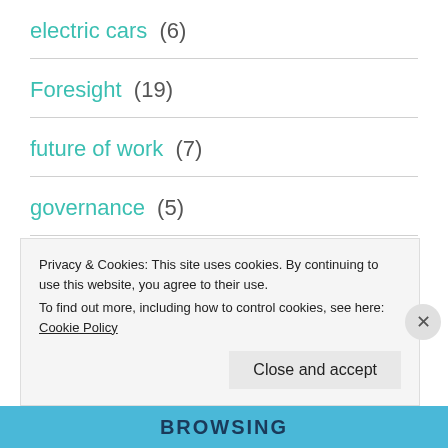electric cars (6)
Foresight (19)
future of work (7)
governance (5)
health (1)
innovation (1)
Privacy & Cookies: This site uses cookies. By continuing to use this website, you agree to their use.
To find out more, including how to control cookies, see here: Cookie Policy
Close and accept